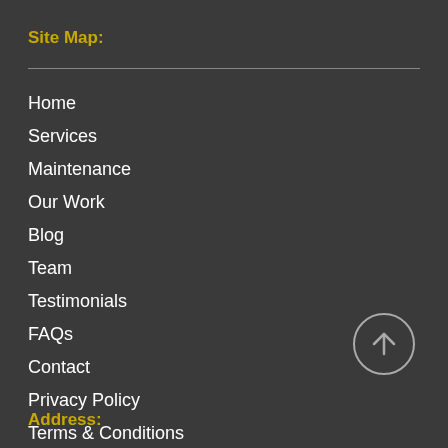Site Map:
Home
Services
Maintenance
Our Work
Blog
Team
Testimonials
FAQs
Contact
Privacy Policy
Terms & Conditions
[Figure (illustration): Circular back-to-top button with upward arrow]
Address: